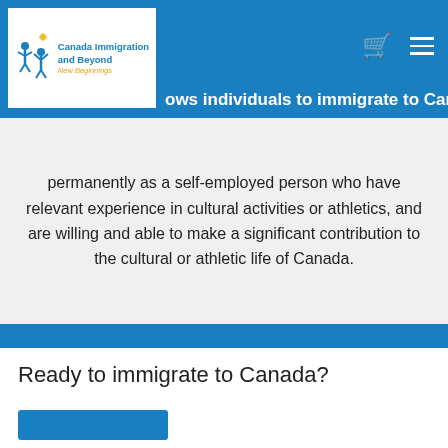Canada Immigration and Beyond – New Beginnings
ows individuals to immigrate to Canada permanently as a self-employed person who have relevant experience in cultural activities or athletics, and are willing and able to make a significant contribution to the cultural or athletic life of Canada.
Find out the best pathway for immigration.
Ready to immigrate to Canada?